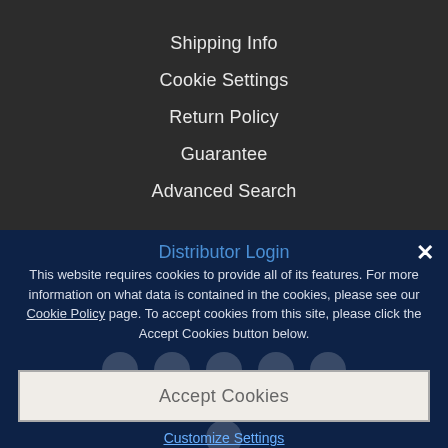Shipping Info
Cookie Settings
Return Policy
Guarantee
Advanced Search
Distributor Login
This website requires cookies to provide all of its features. For more information on what data is contained in the cookies, please see our Cookie Policy page. To accept cookies from this site, please click the Accept Cookies button below.
Accept Cookies
Customize Settings